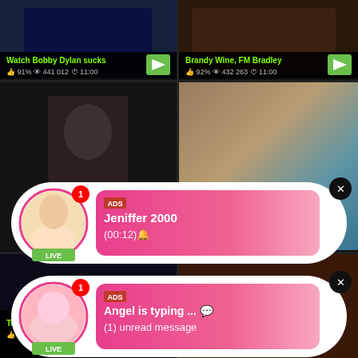[Figure (screenshot): Adult video website screenshot showing a grid of video thumbnails with metadata (title, likes, views, duration) and two ad overlay popups for live chat notifications]
Watch Bobby Dylan sucks
91% 441 012 11:00
Brandy Wine, FM Bradley
92% 432 263 11:00
Two W
83%
ADS Jeniffer 2000 (00:12)🔔 LIVE
ADS Angel is typing ... 💬 (1) unread message LIVE